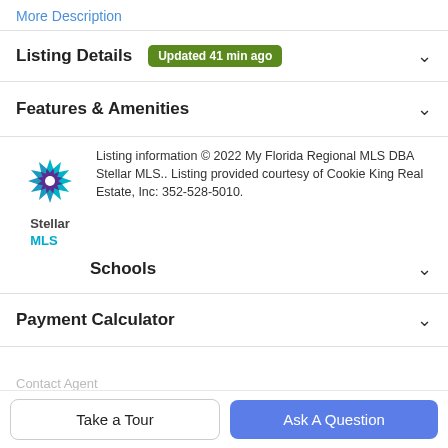More Description
Listing Details  Updated 41 min ago
Features & Amenities
Listing information © 2022 My Florida Regional MLS DBA Stellar MLS.. Listing provided courtesy of Cookie King Real Estate, Inc: 352-528-5010.
[Figure (logo): Stellar MLS logo with multi-colored star and Stellar MLS text in teal/purple]
Schools
Payment Calculator
Contact Agent
Take a Tour
Ask A Question